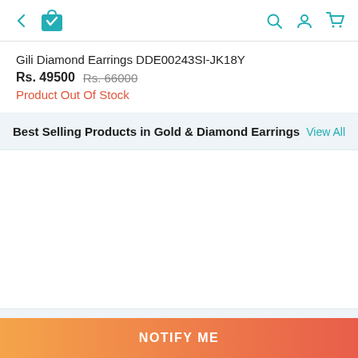← [shopping bag icon] [search icon] [account icon] [cart icon]
Gili Diamond Earrings DDE00243SI-JK18Y
Rs. 49500  Rs. 66000
Product Out Of Stock
Best Selling Products in Gold & Diamond Earrings   View All
[Figure (other): Empty product grid area]
More Products with min 20% Off   View All
NOTIFY ME